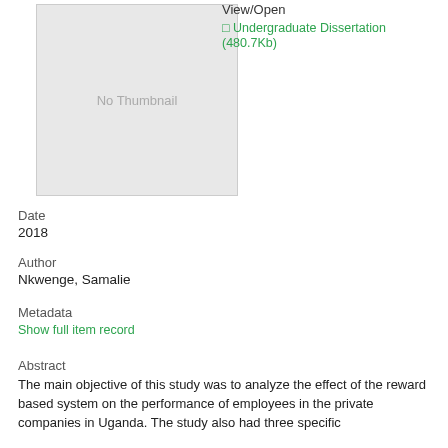[Figure (other): No Thumbnail placeholder image box with grey background]
View/Open
Undergraduate Dissertation (480.7Kb)
Date
2018
Author
Nkwenge, Samalie
Metadata
Show full item record
Abstract
The main objective of this study was to analyze the effect of the reward based system on the performance of employees in the private companies in Uganda. The study also had three specific